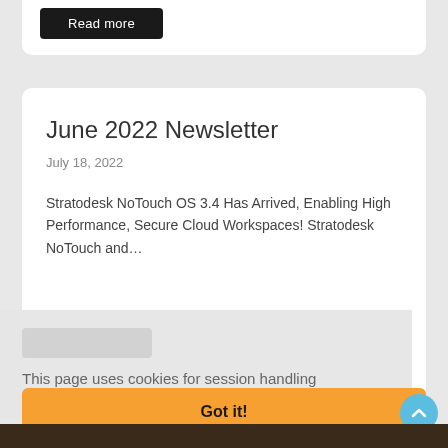[Figure (screenshot): Top portion of a white card with a black 'Read more' button visible at the top of the page, partially cropped]
June 2022 Newsletter
July 18, 2022
Stratodesk NoTouch OS 3.4 Has Arrived, Enabling High Performance, Secure Cloud Workspaces! Stratodesk NoTouch and...
This page uses cookies for session handling purposes.  Learn more
Got it!